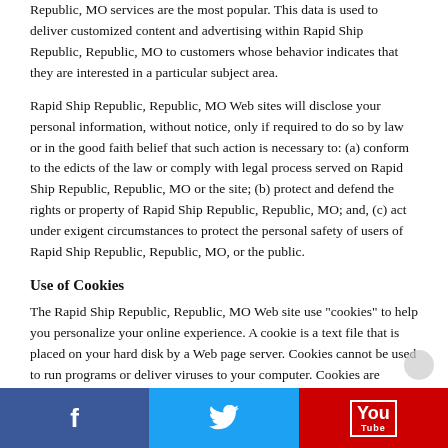Republic, MO services are the most popular. This data is used to deliver customized content and advertising within Rapid Ship Republic, Republic, MO to customers whose behavior indicates that they are interested in a particular subject area.
Rapid Ship Republic, Republic, MO Web sites will disclose your personal information, without notice, only if required to do so by law or in the good faith belief that such action is necessary to: (a) conform to the edicts of the law or comply with legal process served on Rapid Ship Republic, Republic, MO or the site; (b) protect and defend the rights or property of Rapid Ship Republic, Republic, MO; and, (c) act under exigent circumstances to protect the personal safety of users of Rapid Ship Republic, Republic, MO, or the public.
Use of Cookies
The Rapid Ship Republic, Republic, MO Web site use "cookies" to help you personalize your online experience. A cookie is a text file that is placed on your hard disk by a Web page server. Cookies cannot be used to run programs or deliver viruses to your computer. Cookies are uniquely assigned to you, and can only be read by a web server in the domain that issued the
Facebook | Twitter | YouTube